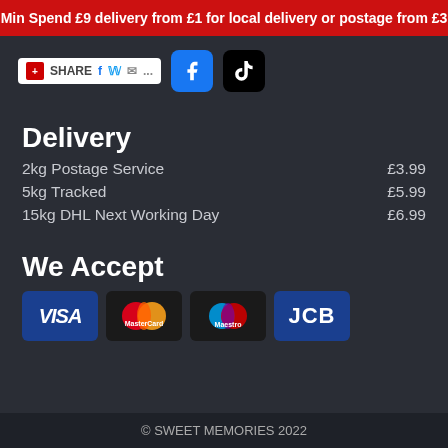Min Spend £9 delivery from £1 for local delivery or postage from £3
[Figure (screenshot): Social share widget with Facebook, Twitter, email buttons, plus Facebook and TikTok icon buttons]
Delivery
2kg Postage Service  £3.99
5kg Tracked  £5.99
15kg DHL Next Working Day  £6.99
We Accept
[Figure (infographic): Payment method logos: VISA, MasterCard, Maestro, JCB]
© SWEET MEMORIES 2022